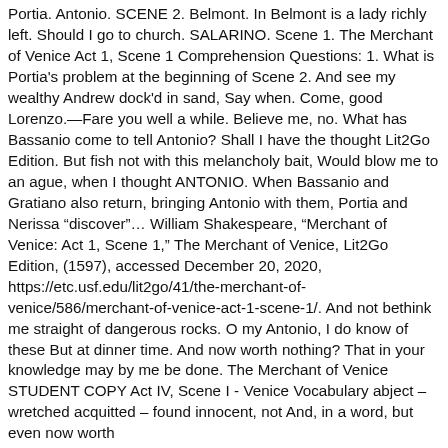Portia. Antonio. SCENE 2. Belmont. In Belmont is a lady richly left. Should I go to church. SALARINO. Scene 1. The Merchant of Venice Act 1, Scene 1 Comprehension Questions: 1. What is Portia's problem at the beginning of Scene 2. And see my wealthy Andrew dock'd in sand, Say when. Come, good Lorenzo.—Fare you well a while. Believe me, no. What has Bassanio come to tell Antonio? Shall I have the thought Lit2Go Edition. But fish not with this melancholy bait, Would blow me to an ague, when I thought ANTONIO. When Bassanio and Gratiano also return, bringing Antonio with them, Portia and Nerissa "discover"... William Shakespeare, "Merchant of Venice: Act 1, Scene 1," The Merchant of Venice, Lit2Go Edition, (1597), accessed December 20, 2020, https://etc.usf.edu/lit2go/41/the-merchant-of-venice/586/merchant-of-venice-act-1-scene-1/. And not bethink me straight of dangerous rocks. O my Antonio, I do know of these But at dinner time. And now worth nothing? That in your knowledge may by me be done. The Merchant of Venice STUDENT COPY Act IV, Scene I - Venice Vocabulary abject – wretched acquitted – found innocent, not And, in a word, but even now worth